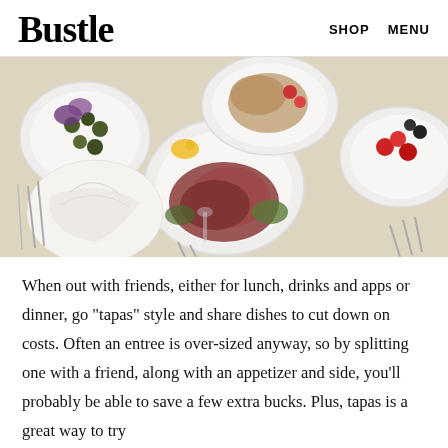Bustle   SHOP   MENU
[Figure (photo): Overhead view of a table set with multiple plates of food including charcuterie, salads, olives, and a large platter with meat arranged decoratively, with silverware visible around the dishes.]
When out with friends, either for lunch, drinks and apps or dinner, go "tapas" style and share dishes to cut down on costs. Often an entree is over-sized anyway, so by splitting one with a friend, along with an appetizer and side, you'll probably be able to save a few extra bucks. Plus, tapas is a great way to try